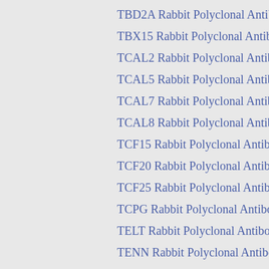TBD2A Rabbit Polyclonal Antibody
TBX15 Rabbit Polyclonal Antibody
TCAL2 Rabbit Polyclonal Antibody
TCAL5 Rabbit Polyclonal Antibody
TCAL7 Rabbit Polyclonal Antibody
TCAL8 Rabbit Polyclonal Antibody
TCF15 Rabbit Polyclonal Antibody
TCF20 Rabbit Polyclonal Antibody
TCF25 Rabbit Polyclonal Antibody
TCPG Rabbit Polyclonal Antibody
TELT Rabbit Polyclonal Antibody
TENN Rabbit Polyclonal Antibody
TGM4 Rabbit Polyclonal Antibody